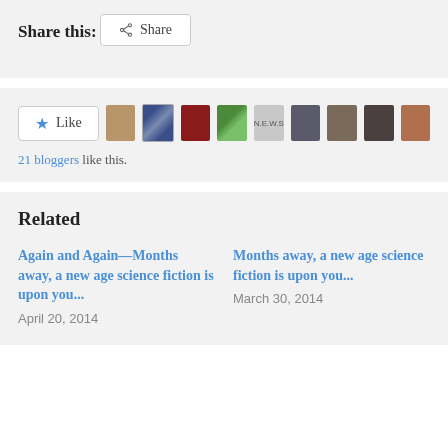Share this:
[Figure (screenshot): Share button with share icon]
[Figure (screenshot): Like button with star icon and 9 blogger avatar thumbnails]
21 bloggers like this.
Related
Again and Again—Months away, a new age science fiction is upon you...
April 20, 2014
Months away, a new age science fiction is upon you...
March 30, 2014